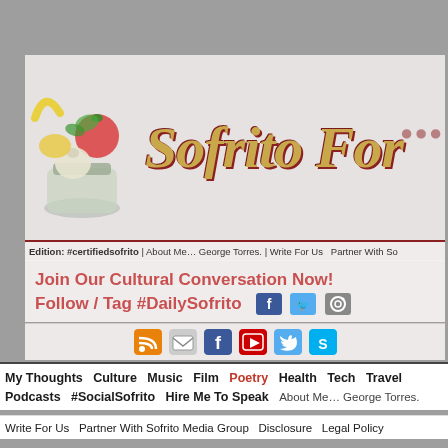[Figure (logo): Sofrito For Your Soul website screenshot showing banner with vegetables and jar illustration, 'Sofrito For' text in gold cursive, navigation bar, social media CTA, and site navigation links]
Edition: #certifiedsofrito | About Me… George Torres. | Write For Us | Partner With So
Join Our Cultural Conversation Now!
Follow / Tag #DailySofrito
My Thoughts  Culture  Music  Film  Poetry  Health  Tech  Travel  Politics  Podcasts  #SocialSofrito  Hire Me To Speak  About Me… George Torres.
Write For Us  Partner With Sofrito Media Group  Disclosure  Legal Policy